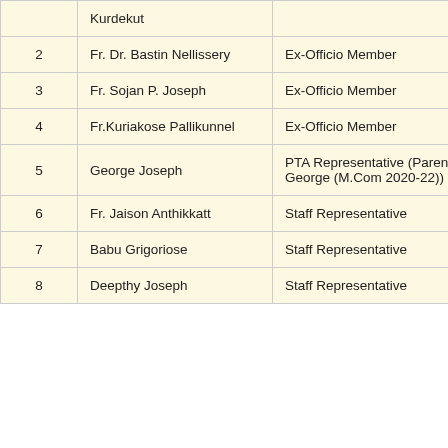| # | Name | Role |
| --- | --- | --- |
|  | Kurdekut |  |
| 2 | Fr. Dr. Bastin Nellissery | Ex-Officio Member |
| 3 | Fr. Sojan P. Joseph | Ex-Officio Member |
| 4 | Fr.Kuriakose Pallikunnel | Ex-Officio Member |
| 5 | George Joseph | PTA Representative (Parent of Mishal George (M.Com 2020-22)) |
| 6 | Fr. Jaison Anthikkatt | Staff Representative |
| 7 | Babu Grigoriose | Staff Representative |
| 8 | Deepthy Joseph | Staff Representative |